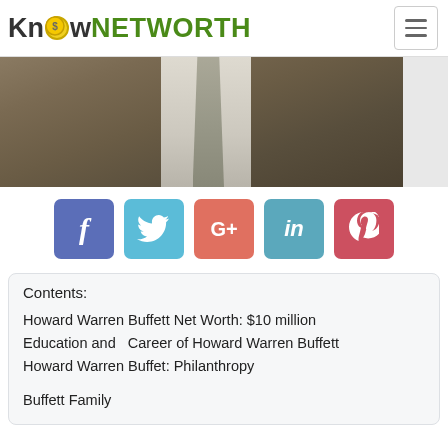KnowNETWORTH
[Figure (photo): Partial photo of a man in a brown suit with a grey tie and white shirt, cropped at chest level]
[Figure (infographic): Social media share buttons: Facebook (blue), Twitter (light blue), Google+ (red-orange), LinkedIn (teal), Pinterest (red)]
Contents:
Howard Warren Buffett Net Worth: $10 million
Education and  Career of Howard Warren Buffett
Howard Warren Buffet: Philanthropy
Buffett Family